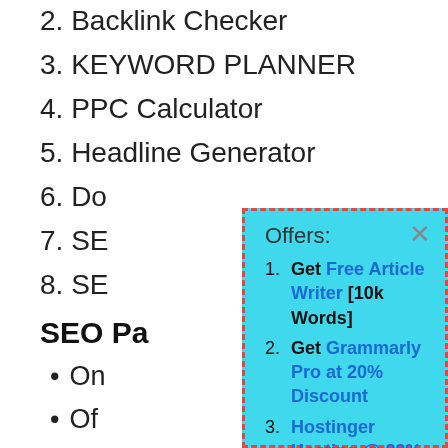2. Backlink Checker
3. KEYWORD PLANNER
4. PPC Calculator
5. Headline Generator
6. Do[mains...]
7. SE[...]
8. SE[...]
SEO Pa[ge...]
On[...]
Of[...]
Liv[...]
In[...]
W[...]
[Figure (screenshot): Popup box with cyan background and dashed red border showing Offers list with 4 items: 1. Get Free Article Writer [10k Words], 2. Get Grammarly Pro at 20% Discount, 3. Hostinger Hosting @ 80% Discount, 4. Get The Best Cache Plugin. Has an X close button in top right.]